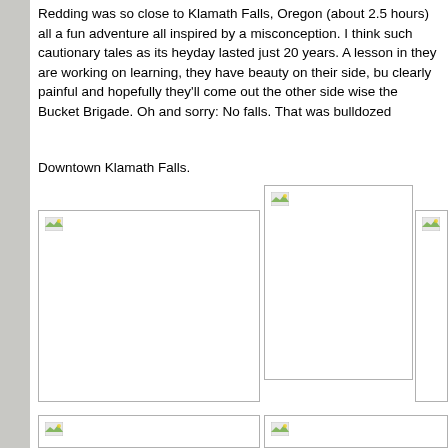Redding was so close to Klamath Falls, Oregon (about 2.5 hours) all a fun adventure all inspired by a misconception. I think such cautionary tales as its heyday lasted just 20 years. A lesson in they are working on learning, they have beauty on their side, but clearly painful and hopefully they'll come out the other side wise the Bucket Brigade. Oh and sorry: No falls. That was bulldozed
Downtown Klamath Falls.
[Figure (photo): Photo placeholder 1 - Downtown Klamath Falls image]
[Figure (photo): Photo placeholder 2 - Downtown Klamath Falls image]
[Figure (photo): Photo placeholder 3 - partial view]
[Figure (photo): Photo placeholder 4 - bottom left]
[Figure (photo): Photo placeholder 5 - bottom right]